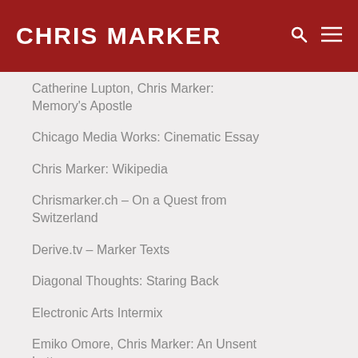CHRIS MARKER
Catherine Lupton, Chris Marker: Memory's Apostle
Chicago Media Works: Cinematic Essay
Chris Marker: Wikipedia
Chrismarker.ch – On a Quest from Switzerland
Derive.tv – Marker Texts
Diagonal Thoughts: Staring Back
Electronic Arts Intermix
Emiko Omore, Chris Marker: An Unsent Letter
Encyclopedia of New Media: Chris Marker Bibliography
Encyclopedia of New Media: Chris Marker: Biographie